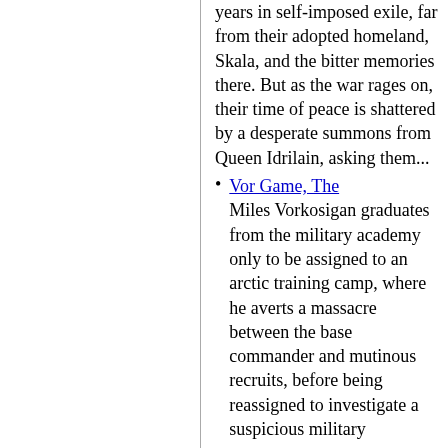years in self-imposed exile, far from their adopted homeland, Skala, and the bitter memories there. But as the war rages on, their time of peace is shattered by a desperate summons from Queen Idrilain, asking them...
Vor Game, The
Miles Vorkosigan graduates from the military academy only to be assigned to an arctic training camp, where he averts a massacre between the base commander and mutinous recruits, before being reassigned to investigate a suspicious military